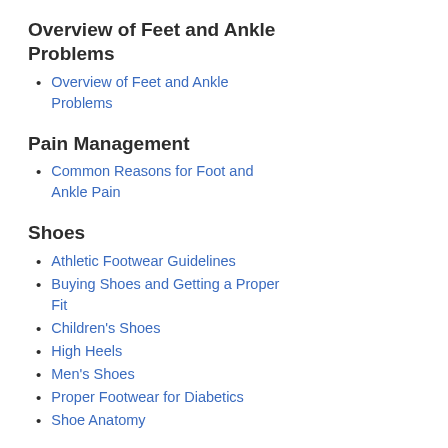Overview of Feet and Ankle Problems
Overview of Feet and Ankle Problems
Pain Management
Common Reasons for Foot and Ankle Pain
Shoes
Athletic Footwear Guidelines
Buying Shoes and Getting a Proper Fit
Children's Shoes
High Heels
Men's Shoes
Proper Footwear for Diabetics
Shoe Anatomy